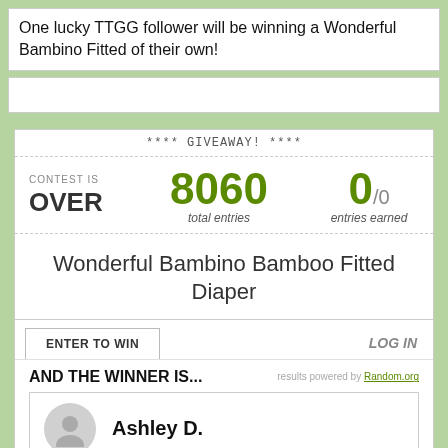One lucky TTGG follower will be winning a Wonderful Bambino Fitted of their own!
[Figure (screenshot): Giveaway contest widget showing **** GIVEAWAY! ****, contest is OVER, 8060 total entries, 0/0 entries earned, prize: Wonderful Bambino Bamboo Fitted Diaper, ENTER TO WIN tab, LOG IN link, AND THE WINNER IS... results powered by Random.org, winner: Ashley D. with avatar placeholder.]